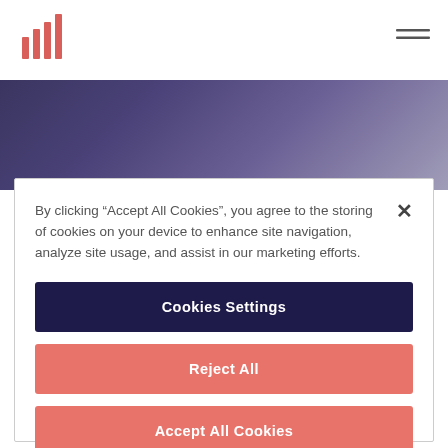[Figure (logo): Red/coral vertical bar chart logo icon with 4 bars of increasing height]
[Figure (illustration): Dark purple/indigo gradient hero banner image]
By clicking “Accept All Cookies”, you agree to the storing of cookies on your device to enhance site navigation, analyze site usage, and assist in our marketing efforts.
Cookies Settings
Reject All
Accept All Cookies